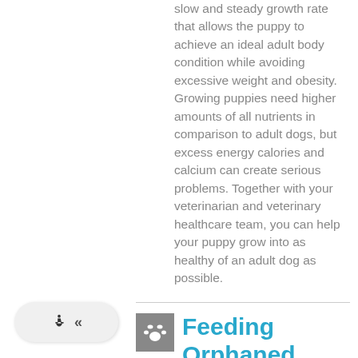slow and steady growth rate that allows the puppy to achieve an ideal adult body condition while avoiding excessive weight and obesity. Growing puppies need higher amounts of all nutrients in comparison to adult dogs, but excess energy calories and calcium can create serious problems. Together with your veterinarian and veterinary healthcare team, you can help your puppy grow into as healthy of an adult dog as possible.
[Figure (other): Navigation widget with wheelchair accessibility icon and double left chevron]
Feeding Orphaned